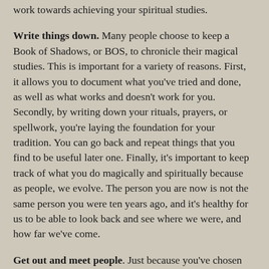work towards achieving your spiritual studies.
Write things down. Many people choose to keep a Book of Shadows, or BOS, to chronicle their magical studies. This is important for a variety of reasons. First, it allows you to document what you've tried and done, as well as what works and doesn't work for you. Secondly, by writing down your rituals, prayers, or spellwork, you're laying the foundation for your tradition. You can go back and repeat things that you find to be useful later one. Finally, it's important to keep track of what you do magically and spiritually because as people, we evolve. The person you are now is not the same person you were ten years ago, and it's healthy for us to be able to look back and see where we were, and how far we've come.
Get out and meet people. Just because you've chosen to practice as a solitary doesn't mean you should never come into contact with other Pagans or Wiccans. Most